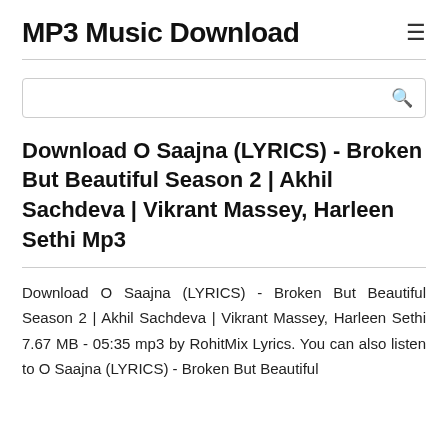MP3 Music Download
[Figure (other): Search input box with magnifying glass icon on the right]
Download O Saajna (LYRICS) - Broken But Beautiful Season 2 | Akhil Sachdeva | Vikrant Massey, Harleen Sethi Mp3
Download O Saajna (LYRICS) - Broken But Beautiful Season 2 | Akhil Sachdeva | Vikrant Massey, Harleen Sethi 7.67 MB - 05:35 mp3 by RohitMix Lyrics. You can also listen to O Saajna (LYRICS) - Broken But Beautiful